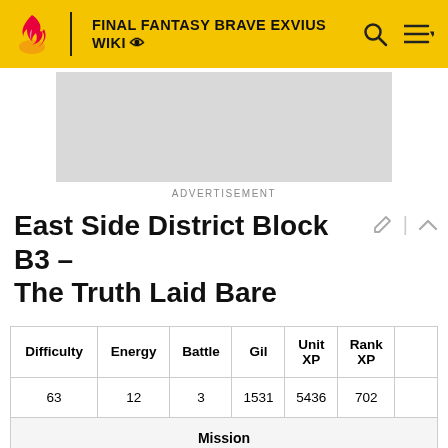FINAL FANTASY BRAVE EXVIUS WIKI
[Figure (screenshot): Advertisement placeholder banner (gray rectangle)]
ADVERTISEMENT
East Side District Block B3 – The Truth Laid Bare
| Difficulty | Energy | Battle | Gil | Unit XP | Rank XP |  |
| --- | --- | --- | --- | --- | --- | --- |
| 63 | 12 | 3 | 1531 | 5436 | 702 |  |
| Mission |  |  |  |  |  |  |
| Complete the quest |  |  |  |  |  |  |
| Use a limit burst |  |  |  |  |  |  |